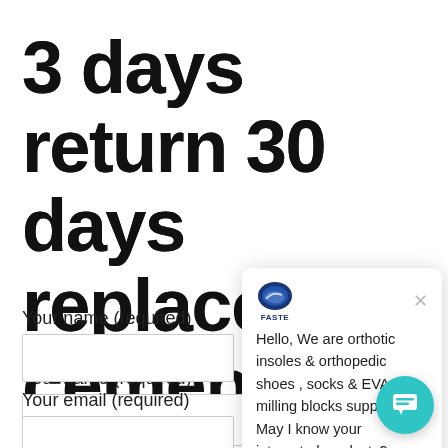3 days return 30 days replacement
Your name (required)
Your email (required)
[Figure (screenshot): Chat popup widget showing FASTE logo and message: Hello, We are orthotic insoles & orthopedic shoes , socks & EVA milling blocks supplier, May I know your interested products?]
[Figure (infographic): Teal circular chat button in bottom right corner]